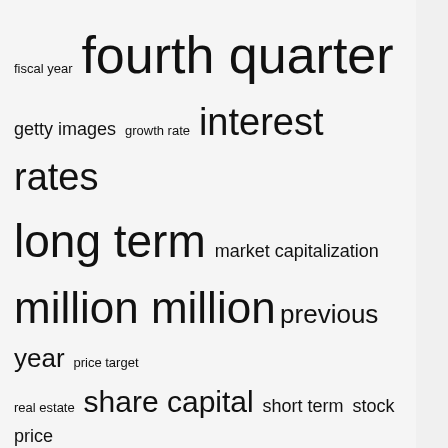[Figure (infographic): Word cloud with finance-related terms in varying sizes: fiscal year, fourth quarter (largest), getty images, growth rate, interest rates, long term, market capitalization, million million, previous year, price target, real estate, share capital, short term, stock price, united states]
Recent Posts
Payday lenders thrive where banks are scarce
Despite growing tension, US approves tech sales to China